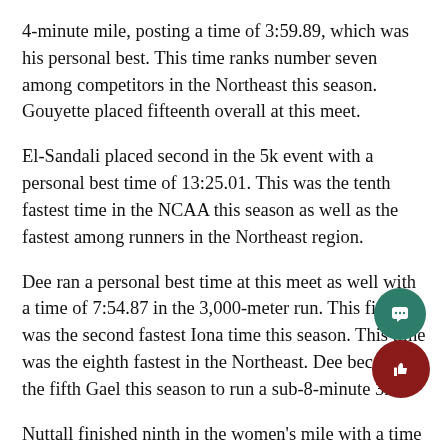4-minute mile, posting a time of 3:59.89, which was his personal best. This time ranks number seven among competitors in the Northeast this season. Gouyette placed fifteenth overall at this meet.
El-Sandali placed second in the 5k event with a personal best time of 13:25.01. This was the tenth fastest time in the NCAA this season as well as the fastest among runners in the Northeast region.
Dee ran a personal best time at this meet as well with a time of 7:54.87 in the 3,000-meter run. This finish was the second fastest Iona time this season. This time was the eighth fastest in the Northeast. Dee became the fifth Gael this season to run a sub-8-minute 3k.
Nuttall finished ninth in the women's mile with a time of 4:47.97. Murphy posted a personal best with a score of 9:29.62 in the women's 3k, finishing tenth. This was th